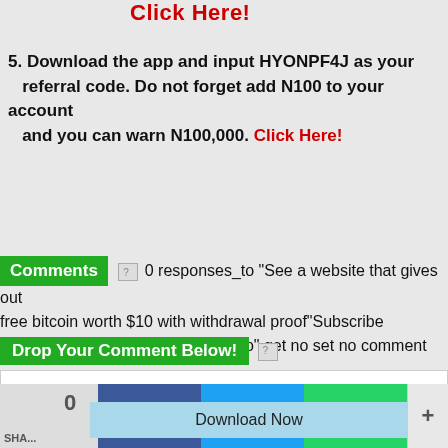Click Here!
5. Download the app and input HYONPF4J as your referral code. Do not forget add N100 to your account and you can warn N100,000. Click Here!
Comments [icon] 0 responses_to "See a website that gives out free bitcoin worth $10 with withdrawal proof"Subscribe comments feed: RSS Parameter "to" get no set no comment
Drop Your Comment Below! [icon]
Your Name Here...
Submit comment
0 SHARE Download Now